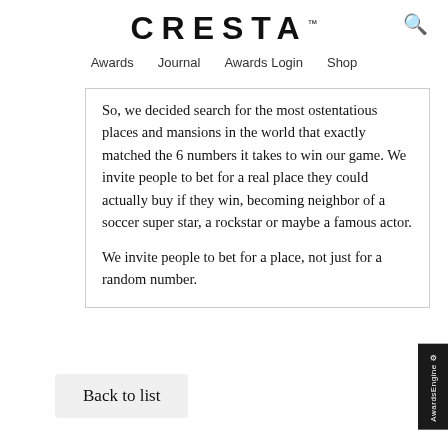CRESTA™
Awards   Journal   Awards Login   Shop
So, we decided search for the most ostentatious places and mansions in the world that exactly matched the 6 numbers it takes to win our game. We invite people to bet for a real place they could actually buy if they win, becoming neighbor of a soccer super star, a rockstar or maybe a famous actor.

We invite people to bet for a place, not just for a random number.